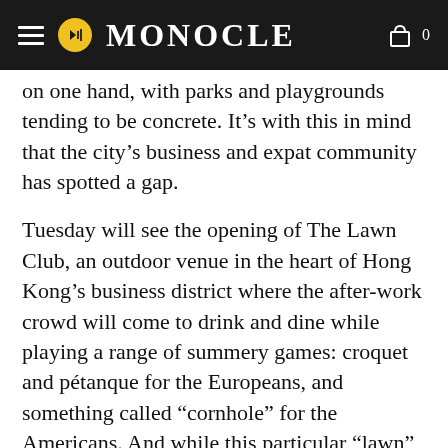MONOCLE
on one hand, with parks and playgrounds tending to be concrete. It’s with this in mind that the city’s business and expat community has spotted a gap.
Tuesday will see the opening of The Lawn Club, an outdoor venue in the heart of Hong Kong’s business district where the after-work crowd will come to drink and dine while playing a range of summery games: croquet and pétanque for the Europeans, and something called “cornhole” for the Americans. And while this particular “lawn” is artificial, it underlines the power that grass has to bring people together, as well as the city’s long-term need for more green space.